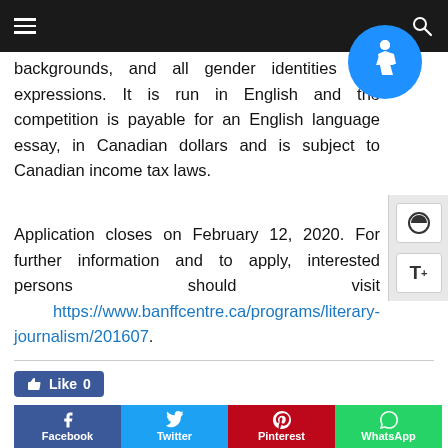Navigation bar with hamburger menu and search icon
backgrounds, and all gender identities and expressions. It is run in English and the competition is payable for an English language essay, in Canadian dollars and is subject to Canadian income tax laws.
Application closes on February 12, 2020. For further information and to apply, interested persons should visit https://www.banffcentre.ca/programs/literary-journalism/201607.
[Figure (other): Accessibility icon — blue circle with wheelchair symbol]
[Figure (other): Contrast toggle and font-size widget panel on right side]
Like 0
Facebook  Twitter  Pinterest  WhatsApp